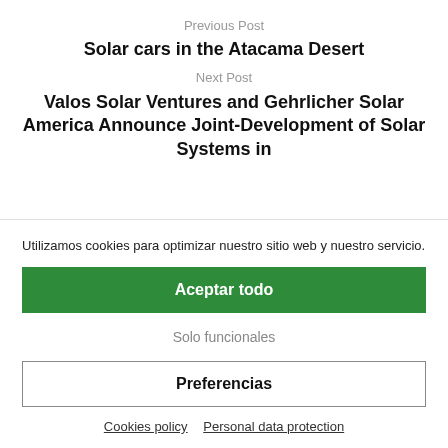Previous Post
Solar cars in the Atacama Desert
Next Post
Valos Solar Ventures and Gehrlicher Solar America Announce Joint-Development of Solar Systems in
Utilizamos cookies para optimizar nuestro sitio web y nuestro servicio.
Aceptar todo
Solo funcionales
Preferencias
Cookies policy   Personal data protection